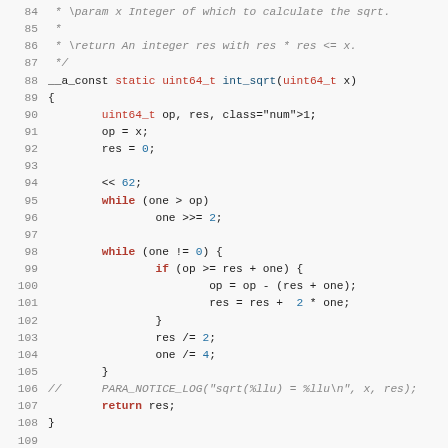Source code listing: int_sqrt and get_item_score functions in C
84  * \param x Integer of which to calculate the sqrt.
85  *
86  * \return An integer res with res * res <= x.
87  */
88 __a_const static uint64_t int_sqrt(uint64_t x)
89 {
90         uint64_t op, res, one = 1;
91         op = x;
92         res = 0;
93
94         one = one << 62;
95         while (one > op)
96                 one >>= 2;
97
98         while (one != 0) {
99                 if (op >= res + one) {
100                         op = op - (res + one);
101                         res = res +  2 * one;
102                 }
103                 res /= 2;
104                 one /= 4;
105         }
106 //      PARA_NOTICE_LOG("sqrt(%llu) = %llu\n", x, res);
107         return res;
108 }
109
110 /* returns 1 if row matches score item, 0 if not. */
111 static int get_item_score(struct mood_item *item, const
112                 const struct afh_info *afhi, const char
113                 long *score_arg_sum)
114 {
115         int ret, match = 1;